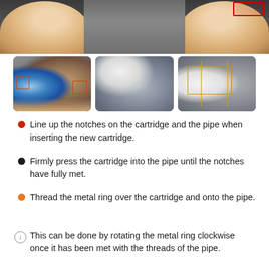[Figure (photo): Close-up photo of fingers holding a pipe/cartridge fitting, with a red rectangle highlight in upper right corner]
[Figure (photo): Three thumbnail photos showing cartridge installation steps: 1) Blue cartridge being inserted into pipe with red box overlays, 2) White cartridge partially inserted into threaded metal pipe, 3) White cartridge with metal ring on pipe with orange/yellow box overlay]
Line up the notches on the cartridge and the pipe when inserting the new cartridge.
Firmly press the cartridge into the pipe until the notches have fully met.
Thread the metal ring over the cartridge and onto the pipe.
This can be done by rotating the metal ring clockwise once it has been met with the threads of the pipe.